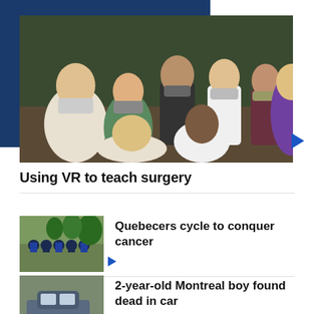[Figure (photo): Group of people wearing face masks in a darkened room, appears to be a medical or educational setting. Some are seated, others standing. Video thumbnail with play button.]
Using VR to teach surgery
[Figure (photo): Group of cyclists on a road, cycling event. Video thumbnail with play button.]
Quebecers cycle to conquer cancer
[Figure (photo): Car parked on a road, partial view. Video thumbnail.]
2-year-old Montreal boy found dead in car